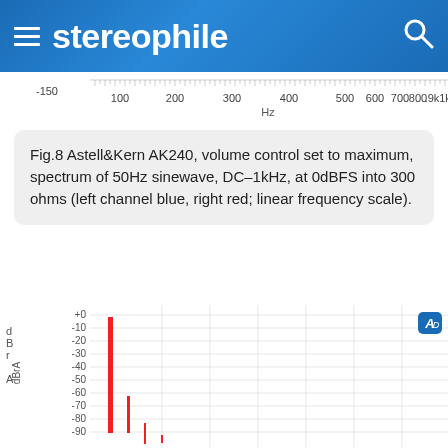stereophile
[Figure (continuous-plot): Partial frequency axis ruler showing scale from -150 to 1k Hz with tick marks at 100, 200, 300, 400, 500, 600, 700, 800, 9k, 1k; labeled 'Hz' below]
Fig.8 Astell&Kern AK240, volume control set to maximum, spectrum of 50Hz sinewave, DC–1kHz, at 0dBFS into 300 ohms (left channel blue, right red; linear frequency scale).
[Figure (continuous-plot): Spectrum plot of 50Hz sinewave DC-1kHz at 0dBFS into 300 ohms. Y-axis labeled dBrA from +0 to -90, showing tall red spike at ~50Hz near 0dBFS, smaller harmonic spikes at 100Hz (~-60dB), 150Hz (~-85dB), and very small spike near 200Hz. AP logo visible top right.]